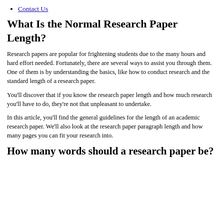Contact Us
What Is the Normal Research Paper Length?
Research papers are popular for frightening students due to the many hours and hard effort needed. Fortunately, there are several ways to assist you through them. One of them is by understanding the basics, like how to conduct research and the standard length of a research paper.
You'll discover that if you know the research paper length and how much research you'll have to do, they're not that unpleasant to undertake.
In this article, you'll find the general guidelines for the length of an academic research paper. We'll also look at the research paper paragraph length and how many pages you can fit your research into.
How many words should a research paper be?